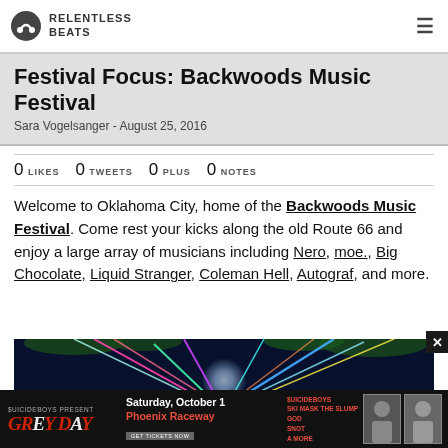RELENTLESS BEATS
Festival Focus: Backwoods Music Festival
Sara Vogelsanger - August 25, 2016
0 LIKES  0 TWEETS  0 PLUS  0 NOTES
Welcome to Oklahoma City, home of the Backwoods Music Festival. Come rest your kicks along the old Route 66 and enjoy a large array of musicians including Nero, moe., Big Chocolate, Liquid Stranger, Coleman Hell, Autograf, and more.
[Figure (photo): Festival laser light show with colorful beams and large moon in night sky background]
[Figure (other): Advertisement banner: $UICIDEBOY$ Present Grey Day, Saturday October 1, Phoenix Raceway, featuring $UICIDEBOY$, SKI MASK THE SLUMP GOD, SNOT, A MORE]